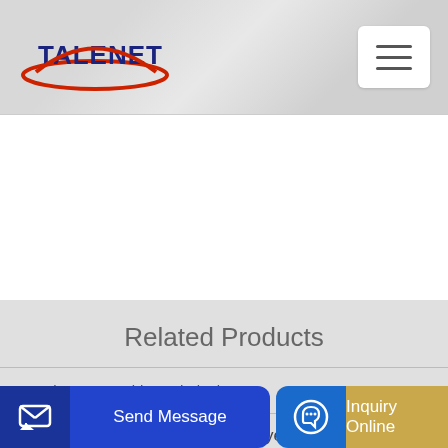[Figure (logo): Talenet company logo with red ellipse and blue bold text]
[Figure (other): Hamburger menu button (three horizontal lines) in white rounded box]
Related Products
ac plant removable asphalt plant
Self Loading Concrete Mixer Buyers Importers
atchin
[Figure (other): Send Message button with icon on left, blue background]
[Figure (other): Inquiry Online button with headset icon, blue and gold background]